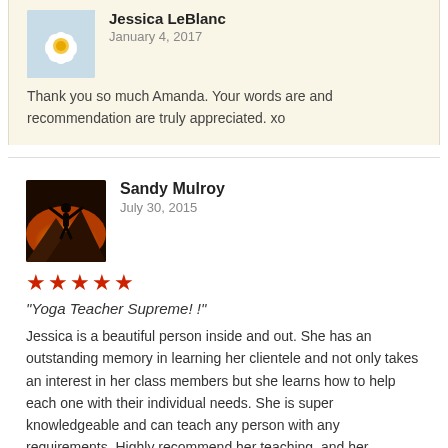[Figure (photo): Profile photo of Jessica LeBlanc — a white lotus flower with yellow center on a blue-green background]
Jessica LeBlanc
January 4, 2017
Thank you so much Amanda. Your words are and recommendation are truly appreciated. xo
[Figure (photo): Profile photo of Sandy Mulroy — silhouette of a person with arms raised against a sunset sky]
Sandy Mulroy
July 30, 2015
★★★★★
“Yoga Teacher Supreme! !”
Jessica is a beautiful person inside and out. She has an outstanding memory in learning her clientele and not only takes an interest in her class members but she learns how to help each one with their individual needs. She is super knowledgeable and can teach any person with any requirements. Highly recommend her teaching, and her personality, she is a beacon of light and a benefit to all ☺